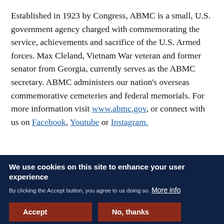Established in 1923 by Congress, ABMC is a small, U.S. government agency charged with commemorating the service, achievements and sacrifice of the U.S. Armed forces. Max Cleland, Vietnam War veteran and former senator from Georgia, currently serves as the ABMC secretary. ABMC administers our nation's overseas commemorative cemeteries and federal memorials. For more information visit www.abmc.gov, or connect with us on Facebook, Youtube or Instagram.
We use cookies on this site to enhance your user experience
By clicking the Accept button, you agree to us doing so. More info
Accept
No, thanks